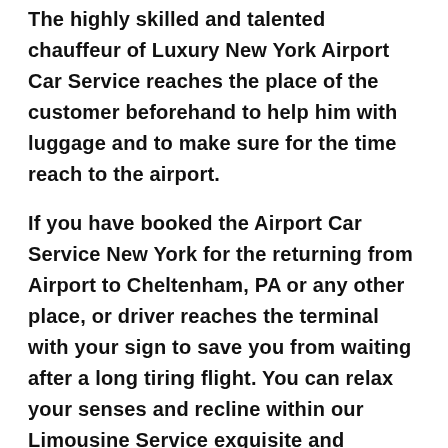The highly skilled and talented chauffeur of Luxury New York Airport Car Service reaches the place of the customer beforehand to help him with luggage and to make sure for the time reach to the airport.
If you have booked the Airport Car Service New York for the returning from Airport to Cheltenham, PA or any other place, or driver reaches the terminal with your sign to save you from waiting after a long tiring flight. You can relax your senses and recline within our Limousine Service exquisite and alluring ambience of the car after the day-long tedious trip.
If you are coming to Cheltenham, PA to attend the corporate meetings or business transactions, we at New York Airport Limo Service yield you the most